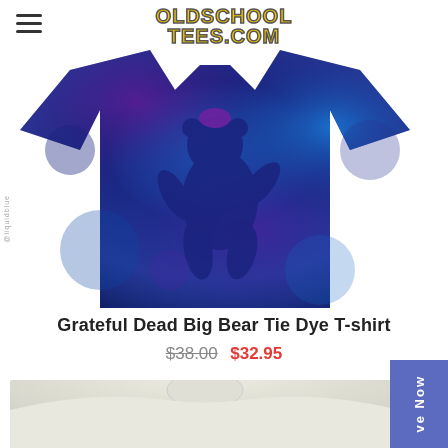OLDSCHOOL TEES.COM
[Figure (photo): Grateful Dead Big Bear tie dye t-shirt in blue/purple tones with dancing bear graphic, laid flat on white background. Watermark reads @liquidblue on left side.]
Grateful Dead Big Bear Tie Dye T-shirt
$38.00 $32.95
[Figure (photo): White/cream colored t-shirt folded/laid flat showing collar, partially visible at bottom of page.]